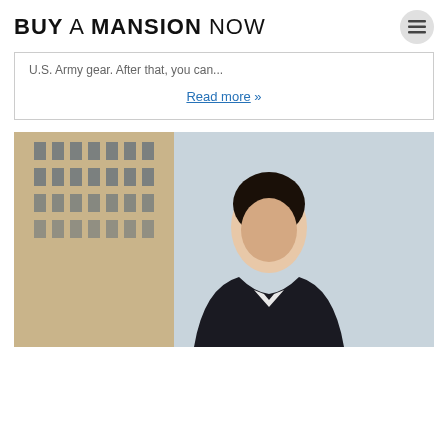BUY A MANSION NOW
U.S. Army gear. After that, you can...
Read more »
[Figure (photo): A woman in a dark business suit standing in front of a modern office building, looking upward slightly, with a light grey sky behind her.]